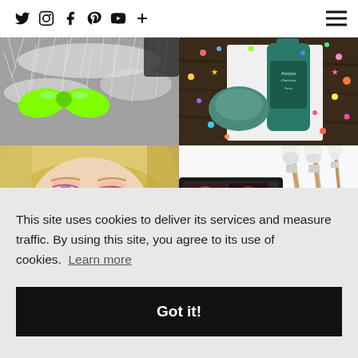Social icons: Twitter, Instagram, Facebook, Pinterest, YouTube, Plus | Hamburger menu
[Figure (photo): White fur with a bright neon green satin bow hair accessory]
[Figure (photo): Teal/green perfume bottle labeled 'Parfum d'Intérieur' surrounded by colorful confetti on a dark wooden surface]
[Figure (photo): Close-up portrait of a young blonde woman with blue eyes and soft pink eye makeup]
[Figure (photo): Rose gold makeup brushes next to a dark makeup palette on a white background]
This site uses cookies to deliver its services and measure traffic. By using this site, you agree to its use of cookies.  Learn more
Got it!